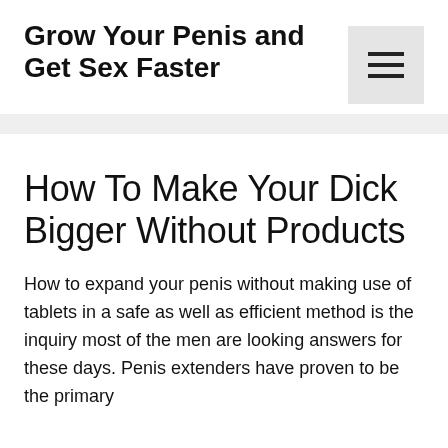Grow Your Penis and Get Sex Faster
How To Make Your Dick Bigger Without Products
How to expand your penis without making use of tablets in a safe as well as efficient method is the inquiry most of the men are looking answers for these days. Penis extenders have proven to be the primary